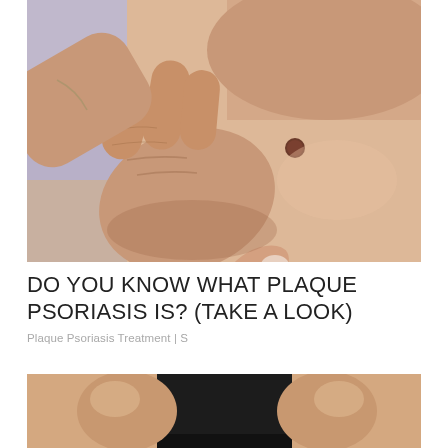[Figure (photo): Close-up of a hand scratching or touching bare skin on someone's back, showing a small dark skin lesion or mole, suggesting psoriasis or skin condition.]
DO YOU KNOW WHAT PLAQUE PSORIASIS IS? (TAKE A LOOK)
Plaque Psoriasis Treatment | S
[Figure (photo): Partial image of a person wearing a black top, showing their torso/side, cropped at bottom of page.]